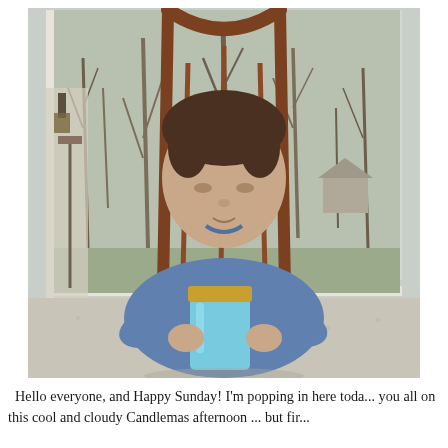[Figure (photo): A young boy wearing a blue sweatshirt sits at a table covered with a textured tablecloth, holding a light blue mason jar with a gold lid. He looks down at the jar. Behind him is a wooden chair with a rounded back, and a large window showing bare winter trees, grass, and a porch area with a lantern-style light fixture.]
Hello everyone, and Happy Sunday! I'm popping in here toda... you all on this cool and cloudy Candlemas afternoon ... but fir...